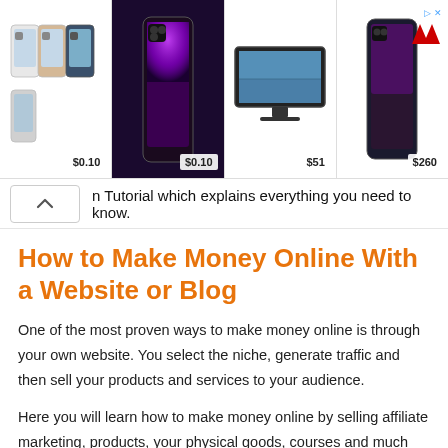[Figure (screenshot): Advertisement banner showing 4 product listings: multiple iPhones at $0.10, iPhone 13 Pro at $0.10, TV at $51, iPhone 13 at $260, with a MediaMarkt-style logo in the top right corner and a navigation arrow]
Tutorial which explains everything you need to know.
How to Make Money Online With a Website or Blog
One of the most proven ways to make money online is through your own website. You select the niche, generate traffic and then sell your products and services to your audience.
Here you will learn how to make money online by selling affiliate marketing, products, your physical goods, courses and much more.
Keep reading to learn about different ways to make money online.